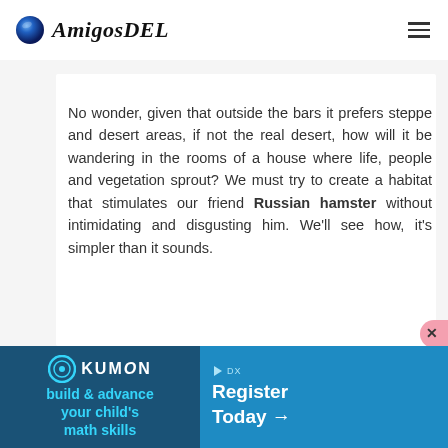AmigosDEL
No wonder, given that outside the bars it prefers steppe and desert areas, if not the real desert, how will it be wandering in the rooms of a house where life, people and vegetation sprout? We must try to create a habitat that stimulates our friend Russian hamster without intimidating and disgusting him. We'll see how, it's simpler than it sounds.
[Figure (infographic): Kumon advertisement banner: build & advance your child's math skills. Register Today arrow.]